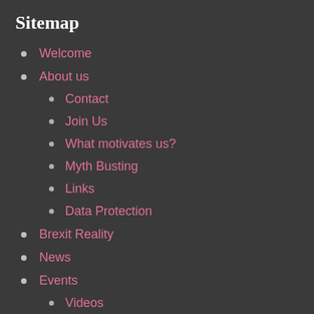Sitemap
Welcome
About us
Contact
Join Us
What motivates us?
Myth Busting
Links
Data Protection
Brexit Reality
News
Events
Videos